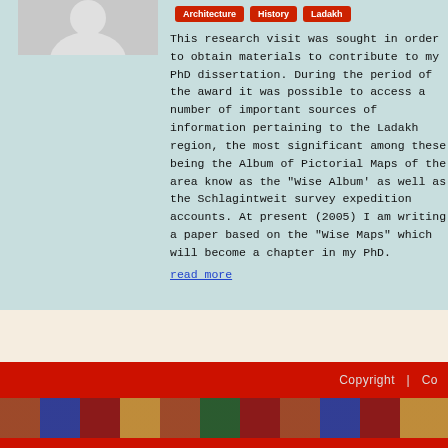[Figure (photo): Partial person photo placeholder on light teal background]
Architecture | History | Ladakh
This research visit was sought in order to obtain materials to contribute to my PhD dissertation. During the period of the award it was possible to access a number of important sources of information pertaining to the Ladakh region, the most significant among these being the Album of Pictorial Maps of the area know as the "Wise Album' as well as the Schlagintweit survey expedition accounts. At present (2005) I am writing a paper based on the "Wise Maps" which will become a chapter in my PhD.
read more
Copyright  |  Co...